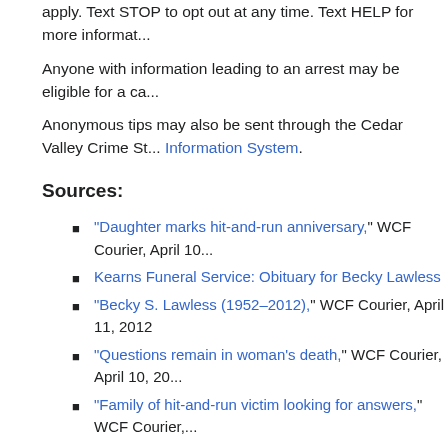apply. Text STOP to opt out at any time. Text HELP for more informat...
Anyone with information leading to an arrest may be eligible for a ca...
Anonymous tips may also be sent through the Cedar Valley Crime St... Information System.
Sources:
"Daughter marks hit-and-run anniversary," WCF Courier, April 10...
Kearns Funeral Service: Obituary for Becky Lawless
"Becky S. Lawless (1952–2012)," WCF Courier, April 11, 2012
"Questions remain in woman's death," WCF Courier, April 10, 20...
"Family of hit-and-run victim looking for answers," WCF Courier,...
"Obituaries: Heather Nicol (1970–2011)," WCF Courier, Sept. 22...
"United States Social Security Death Index," index, FamilySearch... Apr 2012; citing U.S. Social Security Administration, Death Mast... Virginia: National Technical Information Service, ongoing).
"United States Public Records, 1970-2009," database, FamilySe... Residence, Waterloo, Iowa, United States; a third party aggrega... information.
Iowa Code 707.6A HOMICIDE OR SERIOUS INJURY BY VEHI...
Becky Simpson Lawless (1952 – 2012) — Find a Grave Memori...
"Vehicular Homicide Laws — Vehicular Manslaughter Laws – P...